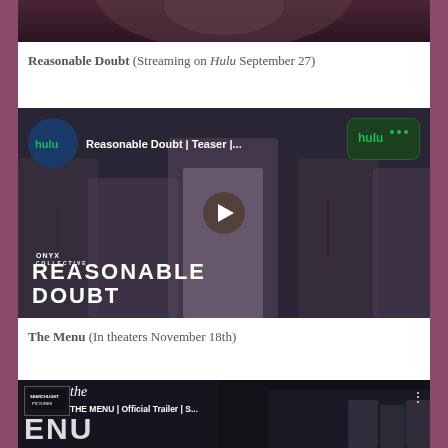[Figure (photo): Top portion of a photo, partially cropped — dark tones, appears to be a person]
Reasonable Doubt (Streaming on Hulu September 27)
[Figure (screenshot): Embedded video thumbnail for Hulu series 'Reasonable Doubt | Teaser' showing people in formal attire in an elevator, with Hulu logos and a play button overlay. ONYX label and REASONABLE DOUBT title visible at bottom.]
The Menu (In theaters November 18th)
[Figure (screenshot): Embedded video thumbnail for 'THE MENU | Official Trailer | S...' with Searchlight Pictures branding, 'the' in italic script, large 'ENU' text partially visible, and small scene of people at right.]